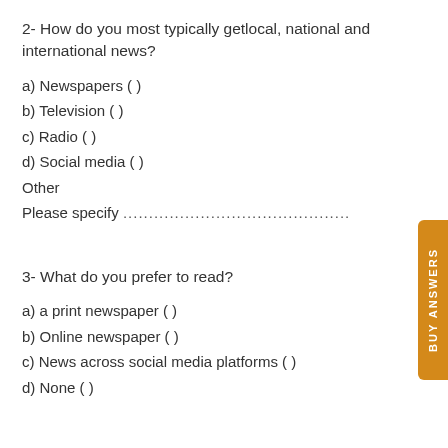2- How do you most typically getlocal, national and international news?
a) Newspapers ( )
b) Television ( )
c) Radio ( )
d) Social media ( )
Other
Please specify ............................................
3- What do you prefer to read?
a) a print newspaper ( )
b) Online newspaper ( )
c) News across social media platforms ( )
d) None ( )